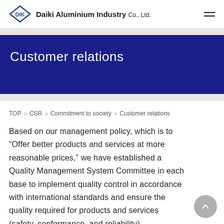Daiki Aluminium Industry Co., Ltd.
Customer relations
TOP > CSR > Commitment to society > Customer relations
Based on our management policy, which is to “Offer better products and services at more reasonable prices,” we have established a Quality Management System Committee in each base to implement quality control in accordance with international standards and ensure the quality required for products and services (safety, conformance, and reliability).